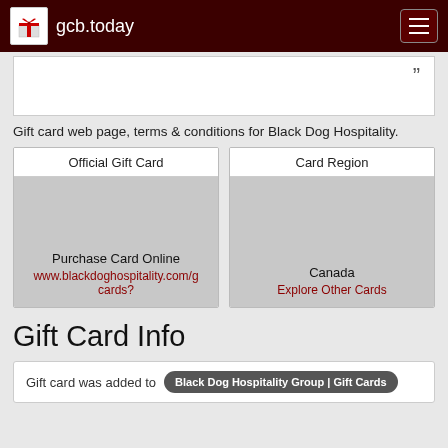gcb.today
[Figure (screenshot): White card with closing quotation marks in top right corner]
Gift card web page, terms & conditions for Black Dog Hospitality.
| Official Gift Card | Card Region |
| --- | --- |
| Purchase Card Online
www.blackdoghospitality.com/g
cards? | Canada
Explore Other Cards |
Gift Card Info
Gift card was added to Black Dog Hospitality Group | Gift Cards